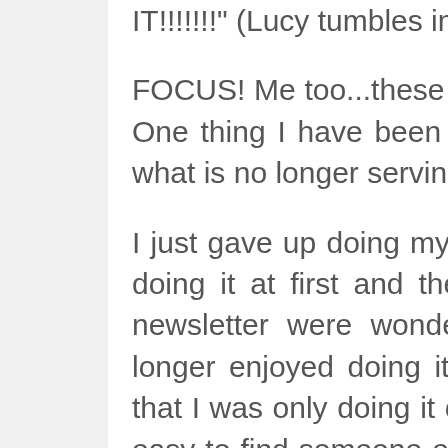IT!!!!!!!" (Lucy tumbles in circles)
FOCUS! Me too...these days it has been hard to focus. One thing I have been doing to 'fix' that is to trim out what is no longer serving me.
I just gave up doing my quilt guild's newsletter. I loved doing it at first and the kudo's I got for a very nice newsletter were wonderful for my ego. When I no longer enjoyed doing it though, I finally had to admit that I was only doing it out of a sense of duty. It wasn't easy to find someone else to do it but I stood firm and they now have a new newsletter person. The weight lifted off my shoulders should be good for a couple pounds off the scale! lol
So, if there IS anything that is no longer serving you, pleasing you, doing any good for you...let it go! The less you have to even THINK about focusing on, the better. Pretty soon there will be one or two projects that will come out to you that